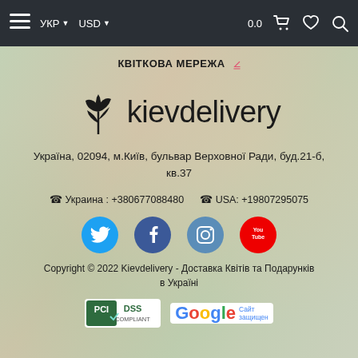☰  УКР ▼  USD ▼  0.0 🛒 ♡ 🔍
КВІТКОВА МЕРЕЖА ▾
[Figure (logo): Kievdelivery flower logo with tulip icon and text 'kievdelivery']
Україна, 02094, м.Київ, бульвар Верховної Ради, буд.21-б, кв.37
☎ Украина : +380677088480   ☎ USA: +19807295075
[Figure (other): Social media icons: Twitter (blue circle), Facebook (dark blue circle), Instagram (blue-gray circle), YouTube (red circle with You Tube text)]
Copyright © 2022 Kievdelivery - Доставка Квітів та Подарунків в Україні
[Figure (other): PCI DSS Compliant badge and Google Сайт защищен badge]